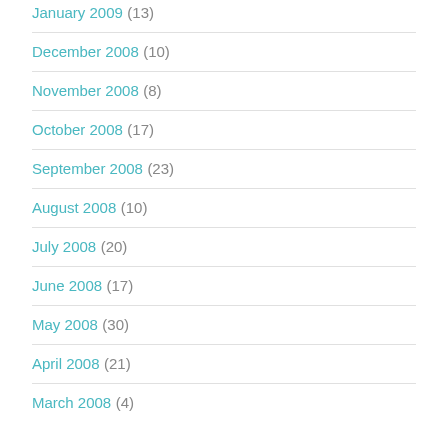January 2009 (13)
December 2008 (10)
November 2008 (8)
October 2008 (17)
September 2008 (23)
August 2008 (10)
July 2008 (20)
June 2008 (17)
May 2008 (30)
April 2008 (21)
March 2008 (4)